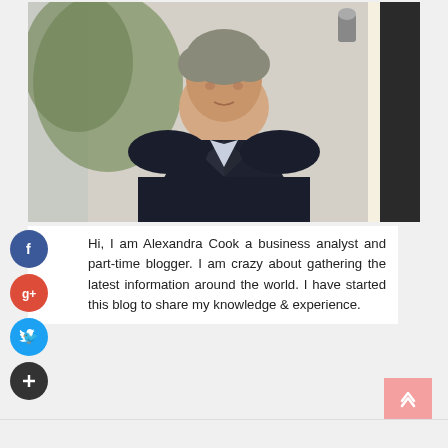[Figure (photo): Portrait photo of a middle-aged man with gray hair wearing a dark navy blazer over a light purple/blue shirt, standing outdoors in front of a light-colored building with columns.]
Hi, I am Alexandra Cook a business analyst and part-time blogger. I am crazy about gathering the latest information around the world. I have started this blog to share my knowledge & experience.